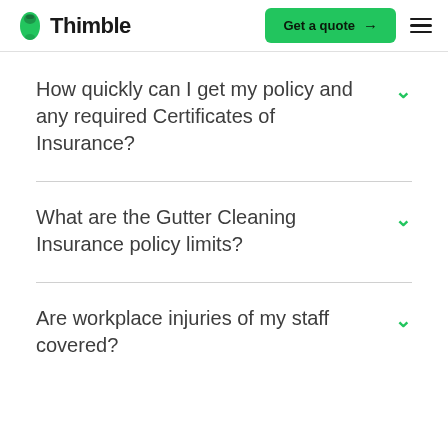Thimble | Get a quote
How quickly can I get my policy and any required Certificates of Insurance?
What are the Gutter Cleaning Insurance policy limits?
Are workplace injuries of my staff covered?